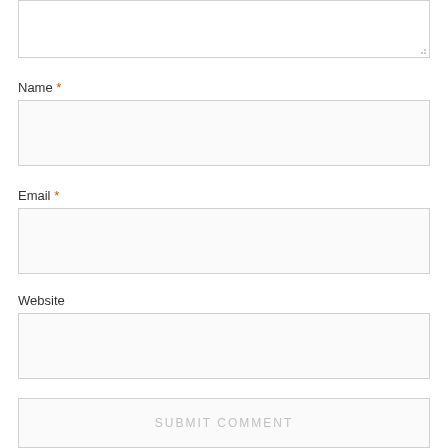[Figure (screenshot): A comment form showing a textarea at top (partially cropped), followed by Name field with red asterisk and input box, Email field with red asterisk and input box, Website field with input box, and a Submit Comment button at the bottom.]
Name *
Email *
Website
SUBMIT COMMENT